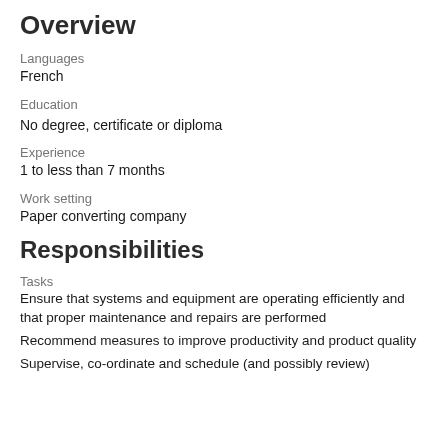Overview
Languages
French
Education
No degree, certificate or diploma
Experience
1 to less than 7 months
Work setting
Paper converting company
Responsibilities
Tasks
Ensure that systems and equipment are operating efficiently and that proper maintenance and repairs are performed
Recommend measures to improve productivity and product quality
Supervise, co-ordinate and schedule (and possibly review)